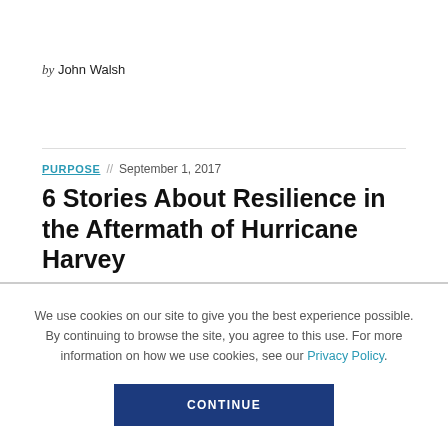by John Walsh
PURPOSE // September 1, 2017
6 Stories About Resilience in the Aftermath of Hurricane Harvey
We use cookies on our site to give you the best experience possible. By continuing to browse the site, you agree to this use. For more information on how we use cookies, see our Privacy Policy.
CONTINUE